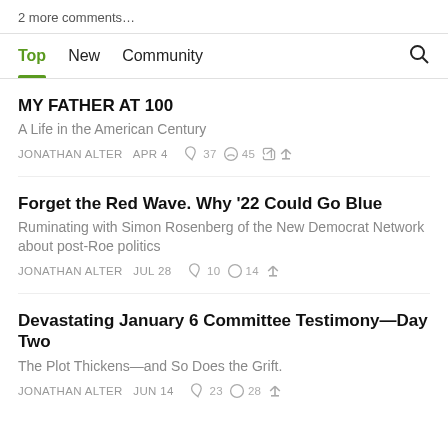2 more comments…
Top   New   Community
MY FATHER AT 100
A Life in the American Century
JONATHAN ALTER   APR 4   ♡ 37   💬 45   ↗
Forget the Red Wave. Why '22 Could Go Blue
Ruminating with Simon Rosenberg of the New Democrat Network about post-Roe politics
JONATHAN ALTER   JUL 28   ♡ 10   💬 14   ↗
Devastating January 6 Committee Testimony—Day Two
The Plot Thickens—and So Does the Grift.
JONATHAN ALTER   JUN 14   ♡ 23   💬 28   ↗